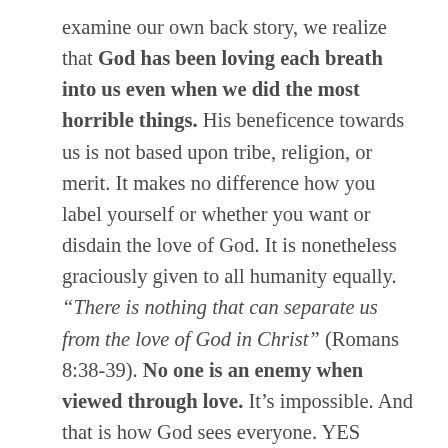examine our own back story, we realize that God has been loving each breath into us even when we did the most horrible things. His beneficence towards us is not based upon tribe, religion, or merit. It makes no difference how you label yourself or whether you want or disdain the love of God. It is nonetheless graciously given to all humanity equally. “There is nothing that can separate us from the love of God in Christ” (Romans 8:38-39). No one is an enemy when viewed through love. It’s impossible. And that is how God sees everyone. YES EVERYONE! Jesus is